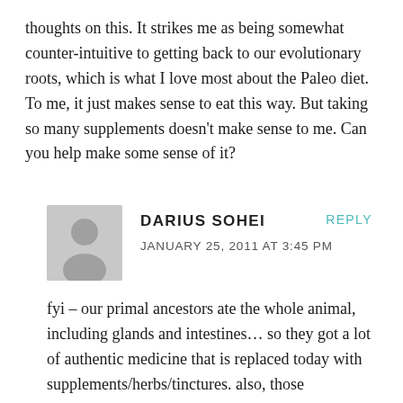thoughts on this. It strikes me as being somewhat counter-intuitive to getting back to our evolutionary roots, which is what I love most about the Paleo diet. To me, it just makes sense to eat this way. But taking so many supplements doesn't make sense to me. Can you help make some sense of it?
DARIUS SOHEI
JANUARY 25, 2011 AT 3:45 PM
REPLY
fyi – our primal ancestors ate the whole animal, including glands and intestines… so they got a lot of authentic medicine that is replaced today with supplements/herbs/tinctures. also, those